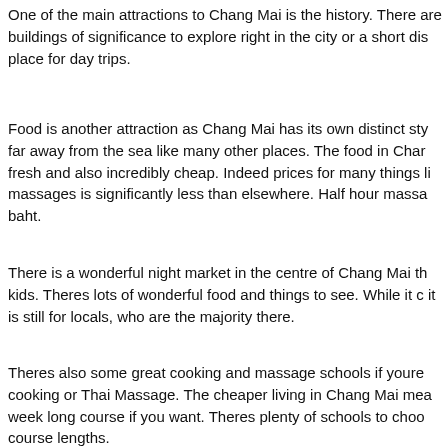One of the main attractions to Chang Mai is the history. There are buildings of significance to explore right in the city or a short dis place for day trips.
Food is another attraction as Chang Mai has its own distinct sty far away from the sea like many other places. The food in Char fresh and also incredibly cheap. Indeed prices for many things li massages is significantly less than elsewhere. Half hour massa baht.
There is a wonderful night market in the centre of Chang Mai th kids. Theres lots of wonderful food and things to see. While it c it is still for locals, who are the majority there.
Theres also some great cooking and massage schools if youre cooking or Thai Massage. The cheaper living in Chang Mai mea week long course if you want. Theres plenty of schools to choo course lengths.
I found Wikitravel's Chang Maipage a really good source of info